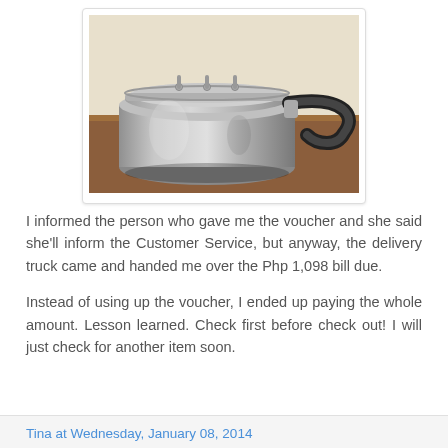[Figure (photo): A shiny aluminum pressure cooker with a black handle sitting on a wooden table surface, photographed from a slightly elevated angle. The pot has a rounded lid with metal clips/screws on top.]
I informed the person who gave me the voucher and she said she'll inform the Customer Service, but anyway, the delivery truck came and handed me over the Php 1,098 bill due.
Instead of using up the voucher, I ended up paying the whole amount. Lesson learned. Check first before check out! I will just check for another item soon.
Tina at Wednesday, January 08, 2014